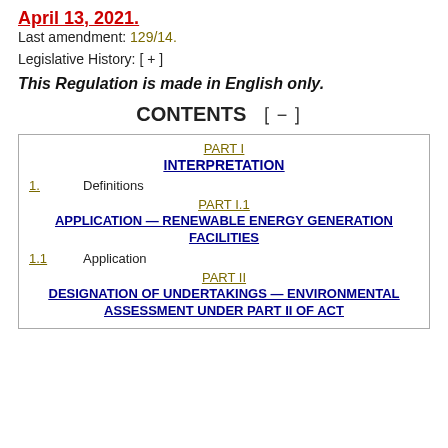April 13, 2021.
Last amendment: 129/14.
Legislative History: [ + ]
This Regulation is made in English only.
CONTENTS [ - ]
| PART I | INTERPRETATION |
| 1. | Definitions |
| PART I.1 | APPLICATION — RENEWABLE ENERGY GENERATION FACILITIES |
| 1.1 | Application |
| PART II | DESIGNATION OF UNDERTAKINGS — ENVIRONMENTAL ASSESSMENT UNDER PART II OF ACT |